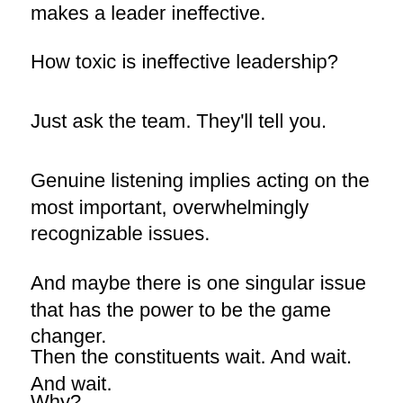makes a leader ineffective.
How toxic is ineffective leadership?
Just ask the team. They'll tell you.
Genuine listening implies acting on the most important, overwhelmingly recognizable issues.
And maybe there is one singular issue that has the power to be the game changer.
Then the constituents wait. And wait. And wait.
Why?